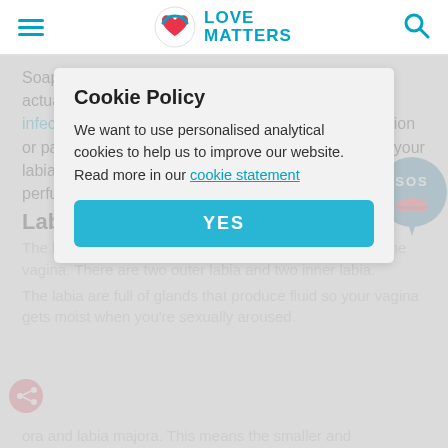LOVE MATTERS
Soap can upset the natural balance of bacteria and actually make you more likely to get yeast (fungal) infections. It can also be a cause of itching and irritation or pain during intercourse. If you do choose to wash your labia with soap, use a gentle one without strong perfumes.
Labia
The labia – which means lips – protect the entrance to the vagina. There are two outer labia and two inner labia.
The labia are full of glands that produce fluid so your vagina gets moist when you're sexually aroused.
ora and labia majora. This means the smaller and
Cookie Policy
We want to use personalised analytical cookies to help us to improve our website. Read more in our cookie statement
YES